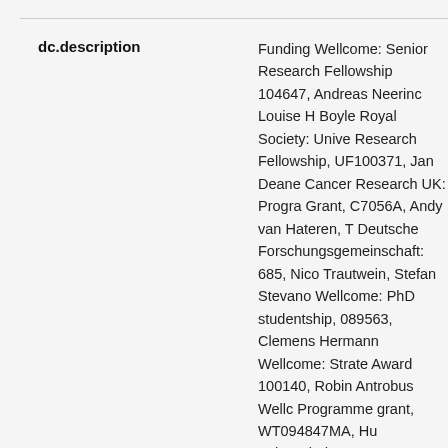| Field | Value |
| --- | --- |
| dc.description | Funding Wellcome: Senior Research Fellowship 104647, Andreas Neering Louise H Boyle Royal Society: Unive Research Fellowship, UF100371, Jan Deane Cancer Research UK: Progra Grant, C7056A, Andy van Hateren, T Deutsche Forschungsgemeinschaft: 685, Nico Trautwein, Stefan Stevano Wellcome: PhD studentship, 089563, Clemens Hermann Wellcome: Strate Award 100140, Robin Antrobus Wellc Programme grant, WT094847MA, Hu Acknowledgements We are extremel grateful to Peter Cresswell and Najla (Yale University School of Medicine, Haven, CT) for valuable advice, tapa TAP-specific antibody reagents, and recombinant calreticulin proteins. We John Trowsdale (University of Cambr UK) for his mentorship and critical re this manuscript, and Jim Kaufman (U of Cambridge, UK) for useful discus |